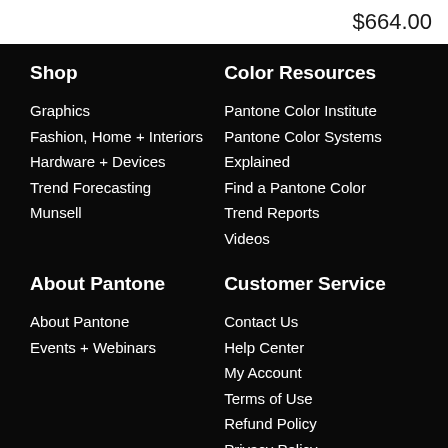$664.00
Shop
Graphics
Fashion, Home + Interiors
Hardware + Devices
Trend Forecasting
Munsell
Color Resources
Pantone Color Institute
Pantone Color Systems Explained
Find a Pantone Color
Trend Reports
Videos
About Pantone
About Pantone
Events + Webinars
Customer Service
Contact Us
Help Center
My Account
Terms of Use
Refund Policy
Privacy Policy
Product Registration